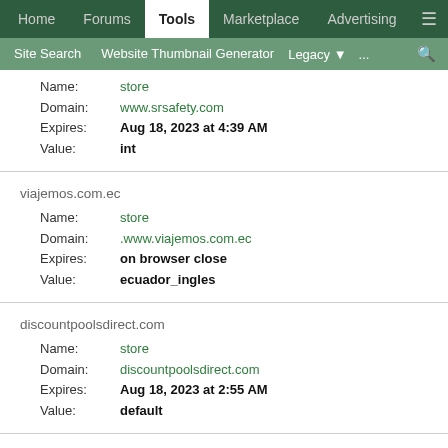Home | Forums | Tools | Marketplace | Advertising
Site Search | Website Thumbnail Generator | Legacy | ... | search
Name: store
Domain: www.srsafety.com
Expires: Aug 18, 2023 at 4:39 AM
Value: int
viajemos.com.ec
Name: store
Domain: .www.viajemos.com.ec
Expires: on browser close
Value: ecuador_ingles
discountpoolsdirect.com
Name: store
Domain: discountpoolsdirect.com
Expires: Aug 18, 2023 at 2:55 AM
Value: default
prossermanjcc.com
Name: store
Domain: prossermanjcc.com
Expires: Aug 18, 2023 at 1:53 AM
Value: pjcc_home